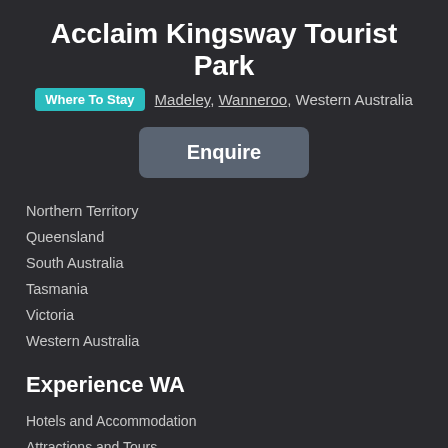Acclaim Kingsway Tourist Park
Where To Stay  Madeley, Wanneroo, Western Australia
Enquire
Northern Territory
Queensland
South Australia
Tasmania
Victoria
Western Australia
Experience WA
Hotels and Accommodation
Attractions and Tours
Upcoming Events
Food and Drink
Transport and Hire